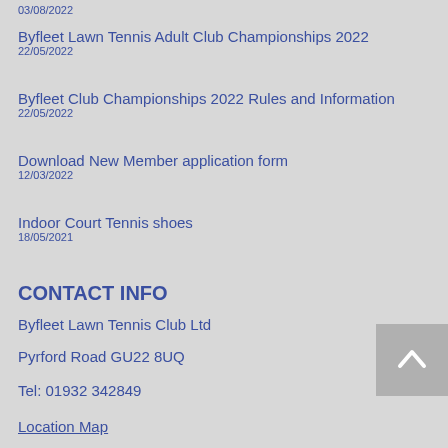03/08/2022
Byfleet Lawn Tennis Adult Club Championships 2022
22/05/2022
Byfleet Club Championships 2022 Rules and Information
22/05/2022
Download New Member application form
12/03/2022
Indoor Court Tennis shoes
18/05/2021
CONTACT INFO
Byfleet Lawn Tennis Club Ltd
Pyrford Road GU22 8UQ
Tel: 01932 342849
Location Map